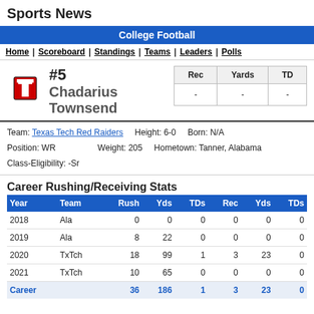Sports News
College Football
Home | Scoreboard | Standings | Teams | Leaders | Polls
#5 Chadarius Townsend
| Rec | Yards | TD |
| --- | --- | --- |
| - | - | - |
Team: Texas Tech Red Raiders   Height: 6-0   Born: N/A
Position: WR   Weight: 205   Hometown: Tanner, Alabama
Class-Eligibility: -Sr
Career Rushing/Receiving Stats
| Year | Team | Rush | Yds | TDs | Rec | Yds | TDs |
| --- | --- | --- | --- | --- | --- | --- | --- |
| 2018 | Ala | 0 | 0 | 0 | 0 | 0 | 0 |
| 2019 | Ala | 8 | 22 | 0 | 0 | 0 | 0 |
| 2020 | TxTch | 18 | 99 | 1 | 3 | 23 | 0 |
| 2021 | TxTch | 10 | 65 | 0 | 0 | 0 | 0 |
| Career |  | 36 | 186 | 1 | 3 | 23 | 0 |